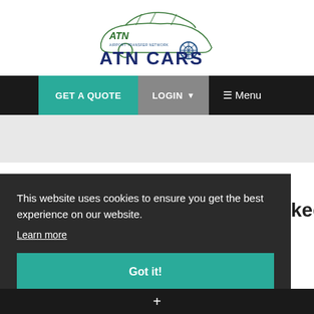[Figure (logo): ATN Cars logo with a green stylized car silhouette and text 'AIRPORT TRANSFER NETWORK' above bold dark blue 'ATN CARS' text]
GET A QUOTE   LOGIN ▾   ☰ Menu
This website uses cookies to ensure you get the best experience on our website.
Learn more
Got it!